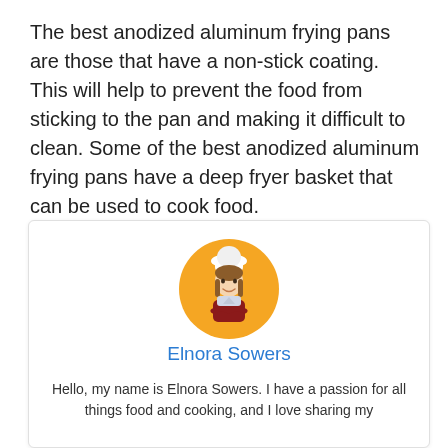The best anodized aluminum frying pans are those that have a non-stick coating. This will help to prevent the food from sticking to the pan and making it difficult to clean. Some of the best anodized aluminum frying pans have a deep fryer basket that can be used to cook food.
[Figure (illustration): Circular avatar illustration of a female chef wearing a white chef's hat and a dark red apron, set against an orange circular background.]
Elnora Sowers
Hello, my name is Elnora Sowers. I have a passion for all things food and cooking, and I love sharing my